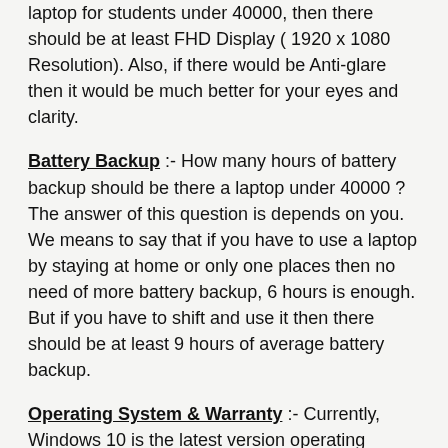laptop for students under 40000, then there should be at least FHD Display ( 1920 x 1080 Resolution). Also, if there would be Anti-glare then it would be much better for your eyes and clarity.
Battery Backup :- How many hours of battery backup should be there a laptop under 40000 ? The answer of this question is depends on you. We means to say that if you have to use a laptop by staying at home or only one places then no need of more battery backup, 6 hours is enough. But if you have to shift and use it then there should be at least 9 hours of average battery backup.
Operating System & Warranty :- Currently, Windows 10 is the latest version operating software of Microsoft windows. So, there should be at least version of windows 10 which is known as latest.